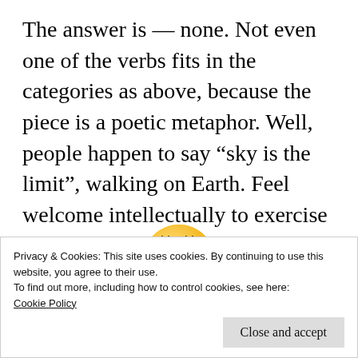The answer is — none. Not even one of the verbs fits in the categories as above, because the piece is a poetic metaphor. Well, people happen to say “sky is the limit”, walking on Earth. Feel welcome intellectually to exercise the categories on repositories linked below.
[Figure (illustration): A yellow smiley face emoji with blue eyes and long eyelashes, smiling warmly.]
Privacy & Cookies: This site uses cookies. By continuing to use this website, you agree to their use.
To find out more, including how to control cookies, see here:
Cookie Policy
Close and accept